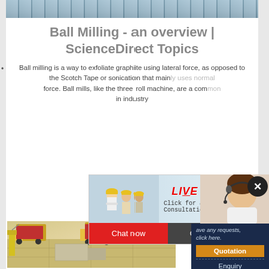[Figure (photo): Top banner image showing industrial/factory scene]
Ball Milling - an overview | ScienceDirect Topics
Ball milling is a way to exfoliate graphite using lateral force, as opposed to the Scotch Tape or sonication that mainly uses normal force. Ball mills, like the three roll machine, are a common in industry...
[Figure (photo): Live Chat popup with workers in hard hats and a woman with headset. Contains 'LIVE CHAT', 'Click for a Free Consultation', 'Chat now' and 'Chat later' buttons.]
[Figure (photo): Right sidebar dark blue panel with text 'ave any requests, click here.', Quotation button, Enquiry text, and email limingjlmofen@sina.com]
[Figure (illustration): 3D isometric illustration of industrial ball mill facility with trucks and equipment]